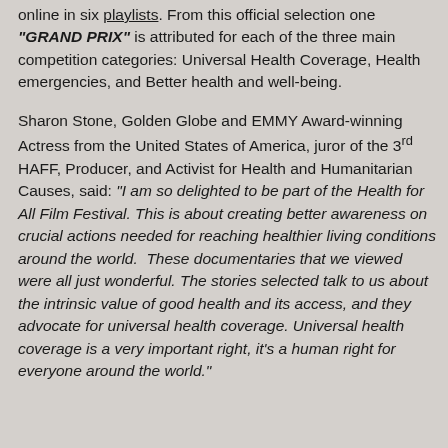online in six playlists. From this official selection one "GRAND PRIX" is attributed for each of the three main competition categories: Universal Health Coverage, Health emergencies, and Better health and well-being.
Sharon Stone, Golden Globe and EMMY Award-winning Actress from the United States of America, juror of the 3rd HAFF, Producer, and Activist for Health and Humanitarian Causes, said: "I am so delighted to be part of the Health for All Film Festival. This is about creating better awareness on crucial actions needed for reaching healthier living conditions around the world.  These documentaries that we viewed were all just wonderful. The stories selected talk to us about the intrinsic value of good health and its access, and they advocate for universal health coverage. Universal health coverage is a very important right, it's a human right for everyone around the world."